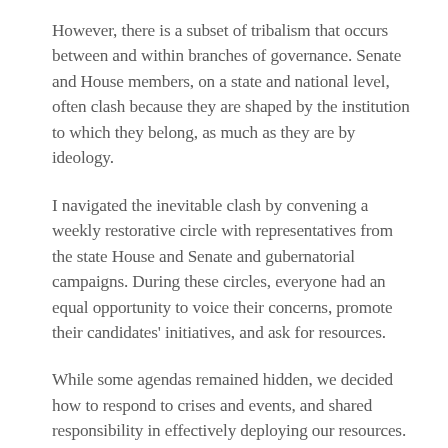However, there is a subset of tribalism that occurs between and within branches of governance. Senate and House members, on a state and national level, often clash because they are shaped by the institution to which they belong, as much as they are by ideology.
I navigated the inevitable clash by convening a weekly restorative circle with representatives from the state House and Senate and gubernatorial campaigns. During these circles, everyone had an equal opportunity to voice their concerns, promote their candidates' initiatives, and ask for resources.
While some agendas remained hidden, we decided how to respond to crises and events, and shared responsibility in effectively deploying our resources. Inasmuch as